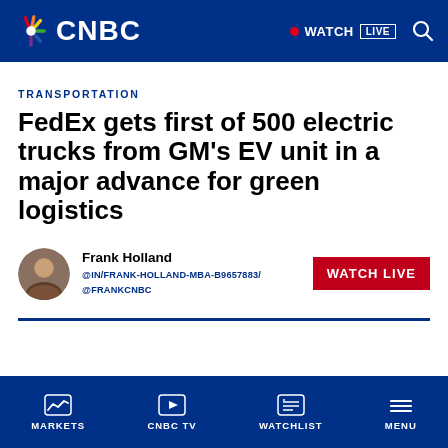CNBC - WATCH LIVE
TRANSPORTATION
FedEx gets first of 500 electric trucks from GM's EV unit in a major advance for green logistics
Frank Holland @IN/FRANK-HOLLAND-MBA-B9657883/ @FRANKCNBC
MARKETS | CNBC TV | WATCHLIST | MENU